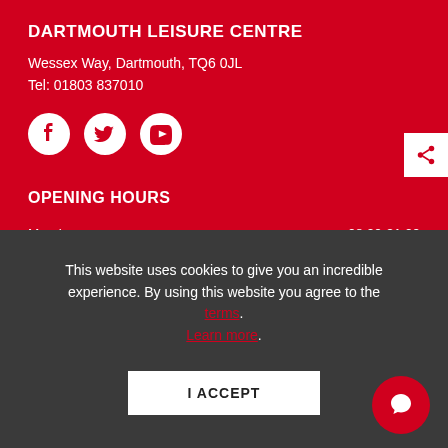DARTMOUTH LEISURE CENTRE
Wessex Way, Dartmouth, TQ6 0JL
Tel: 01803 837010
[Figure (other): Social media icons: Facebook, Twitter, YouTube]
OPENING HOURS
| Day | Hours |
| --- | --- |
| Monday | 08:00-21:00 |
| Tuesday | 07:00-21:00 |
This website uses cookies to give you an incredible experience. By using this website you agree to the terms. Learn more.